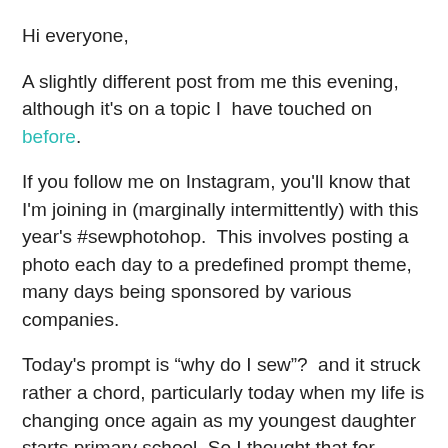Hi everyone,
A slightly different post from me this evening, although it's on a topic I have touched on before.
If you follow me on Instagram, you'll know that I'm joining in (marginally intermittently) with this year's #sewphotohop.  This involves posting a photo each day to a predefined prompt theme, many days being sponsored by various companies.
Today's prompt is “why do I sew”?  and it struck rather a chord, particularly today when my life is changing once again as my youngest daughter starts primary school. So I thought that for once, I’d be brave and share.
If you’d asked me when I did my first SewPhotoHop a couple of years ago, I would have said something